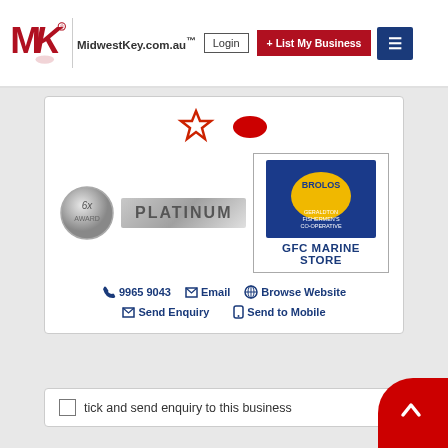MidwestKey.com.au | Login | + List My Business
[Figure (logo): GFC Marine Store business listing card with Platinum badge, Brolos/Geraldton Fishermen's Co-operative logo, contact icons for phone 9965 9043, Email, Browse Website, Send Enquiry, Send to Mobile]
tick and send enquiry to this business